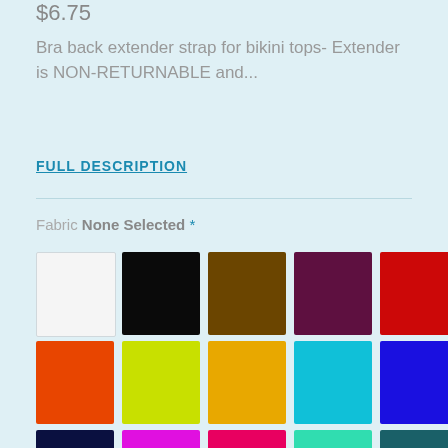$6.75
Bra back extender strap for bikini tops- Extender is NON-RETURNABLE and...
FULL DESCRIPTION
Fabric None Selected *
[Figure (other): Color swatch grid with 16 color options: white, black, brown, maroon, red, orange, yellow, amber/gold, cyan, blue, navy, magenta, hot pink, turquoise, teal, lavender]